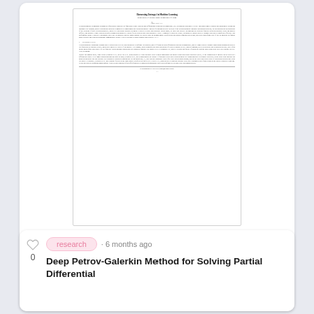[Figure (screenshot): Thumbnail of an academic paper page showing abstract and introduction sections]
Tao Huang, et al.  · share
research · 6 months ago
Deep Petrov-Galerkin Method for Solving Partial Differential